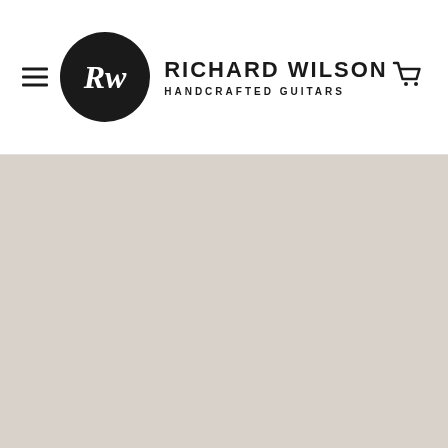Richard Wilson Handcrafted Guitars — website header with logo, navigation hamburger, and cart icon
[Figure (screenshot): Large beige/tan background area below the header, approximately the lower 2/3 of the page, color #d9d2cb]